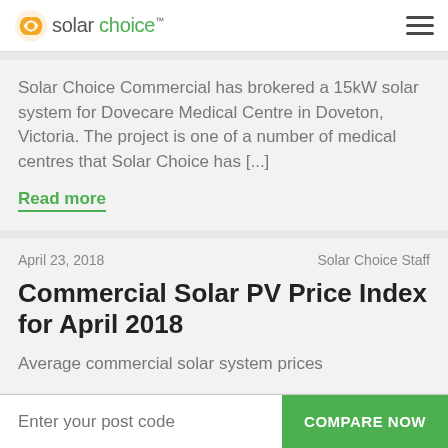solar choice™
Solar Choice Commercial has brokered a 15kW solar system for Dovecare Medical Centre in Doveton, Victoria. The project is one of a number of medical centres that Solar Choice has [...]
Read more
April 23, 2018    Solar Choice Staff
Commercial Solar PV Price Index for April 2018
Average commercial solar system prices